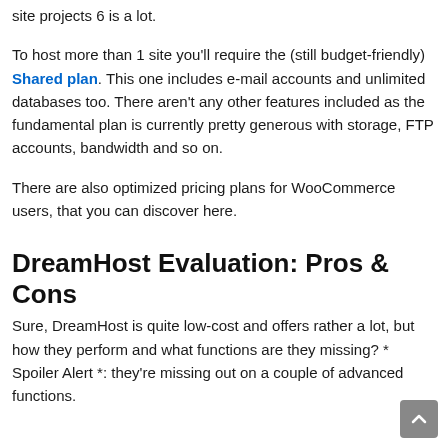site projects 6 is a lot.
To host more than 1 site you'll require the (still budget-friendly) Shared plan. This one includes e-mail accounts and unlimited databases too. There aren't any other features included as the fundamental plan is currently pretty generous with storage, FTP accounts, bandwidth and so on.
There are also optimized pricing plans for WooCommerce users, that you can discover here.
DreamHost Evaluation: Pros & Cons
Sure, DreamHost is quite low-cost and offers rather a lot, but how they perform and what functions are they missing? * Spoiler Alert *: they're missing out on a couple of advanced functions.